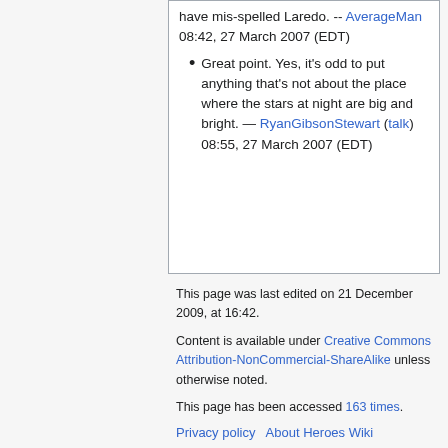have mis-spelled Laredo. -- AverageMan 08:42, 27 March 2007 (EDT)
Great point. Yes, it's odd to put anything that's not about the place where the stars at night are big and bright. — RyanGibsonStewart (talk) 08:55, 27 March 2007 (EDT)
This page was last edited on 21 December 2009, at 16:42.
Content is available under Creative Commons Attribution-NonCommercial-ShareAlike unless otherwise noted.
This page has been accessed 163 times.
Privacy policy   About Heroes Wiki
Disclaimers
[Figure (logo): Creative Commons Attribution-NonCommercial-ShareAlike badge]
[Figure (logo): Powered by MediaWiki badge]